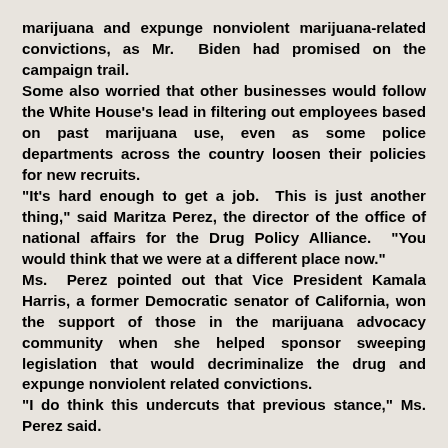marijuana and expunge nonviolent marijuana-related convictions, as Mr. Biden had promised on the campaign trail.
Some also worried that other businesses would follow the White House's lead in filtering out employees based on past marijuana use, even as some police departments across the country loosen their policies for new recruits.
"It's hard enough to get a job.  This is just another thing," said Maritza Perez, the director of the office of national affairs for the Drug Policy Alliance.  "You would think that we were at a different place now."
Ms. Perez pointed out that Vice President Kamala Harris, a former Democratic senator of California, won the support of those in the marijuana advocacy community when she helped sponsor sweeping legislation that would decriminalize the drug and expunge nonviolent related convictions.
"I do think this undercuts that previous stance," Ms. Perez said.